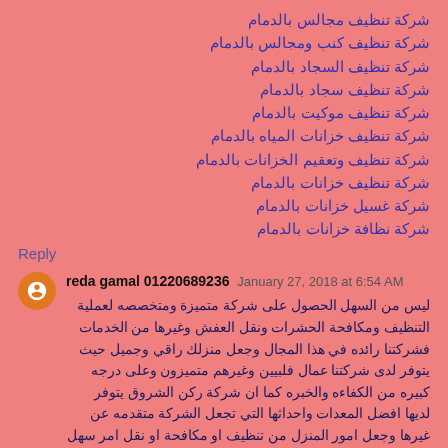شركة تنظيف مجالس بالدمام
شركة تنظيف كنب ومجالس بالدمام
شركة تنظيف السجاد بالدمام
شركة تنظيف سجاد بالدمام
شركة تنظيف موكيت بالدمام
شركة تنظيف خزانات المياه بالدمام
شركة تنظيف وتعقيم الخزانات بالدمام
شركة تنظيف خزانات بالدمام
شركة غسيل خزانات بالدمام
شركة نظافة خزانات بالدمام
Reply
reda gamal 01220689236  January 27, 2018 at 6:54 AM
ليس من السهل الحصول على شركة متميزة ومتخصصه لعملية التنظيف ومكافحة الحشرات ونقل العفش وغيرها من الخدمات فشركتنا رائده في هذا المجال وجعل منزلك راقي وجميل حيث يتوفر لدى شركتنا عمال فلبيين وغيرهم متميزون وعلى درجه كبيره من الكفاءه والخبره كما ان شركة ركن الشروق يتوفر لديها افضل المعدات واحداثها التي تجعل الشركة متقدمه عن غيرها وجعل امور المنزل من تنظيف او مكافحة او نقل امر سهل وراقي في العمل